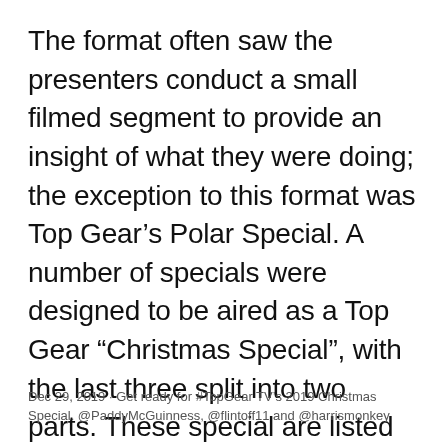The format often saw the presenters conduct a small filmed segment to provide an insight of what they were doing; the exception to this format was Top Gear's Polar Special. A number of specials were designed to be aired as a Top Gear "Christmas Special", with the last three split into two parts. These special are listed below:
Dec 29, 2019 · Get ready for #TopGear TV's 2019 Christmas Special. @PaddyMcGuinness, @flintoff11 and @harrismonkey